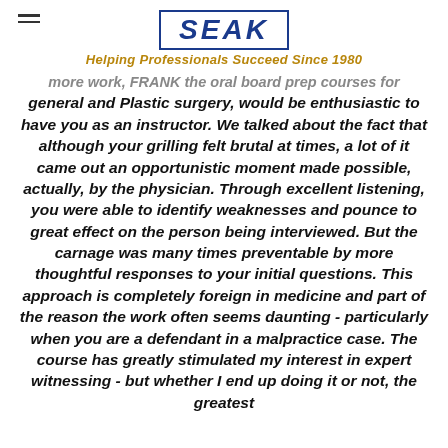SEAK — Helping Professionals Succeed Since 1980
more work, FRANK the oral board prep courses for general and Plastic surgery, would be enthusiastic to have you as an instructor. We talked about the fact that although your grilling felt brutal at times, a lot of it came out an opportunistic moment made possible, actually, by the physician. Through excellent listening, you were able to identify weaknesses and pounce to great effect on the person being interviewed. But the carnage was many times preventable by more thoughtful responses to your initial questions. This approach is completely foreign in medicine and part of the reason the work often seems daunting - particularly when you are a defendant in a malpractice case. The course has greatly stimulated my interest in expert witnessing - but whether I end up doing it or not, the greatest